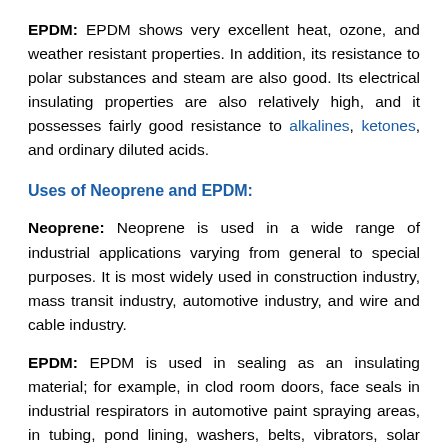EPDM: EPDM shows very excellent heat, ozone, and weather resistant properties. In addition, its resistance to polar substances and steam are also good. Its electrical insulating properties are also relatively high, and it possesses fairly good resistance to alkalines, ketones, and ordinary diluted acids.
Uses of Neoprene and EPDM:
Neoprene: Neoprene is used in a wide range of industrial applications varying from general to special purposes. It is most widely used in construction industry, mass transit industry, automotive industry, and wire and cable industry.
EPDM: EPDM is used in sealing as an insulating material; for example, in clod room doors, face seals in industrial respirators in automotive paint spraying areas, in tubing, pond lining, washers, belts, vibrators, solar panel heat collectors and electrical insulators.
EPDM is used as a water resistant medium in electrical cable